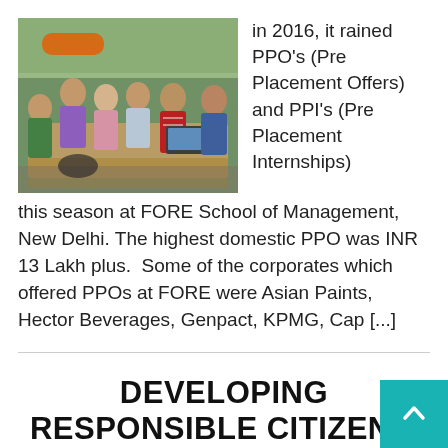[Figure (photo): Students sitting around a table in a classroom discussion, smiling and engaged, with greenery visible through windows in the background.]
in 2016, it rained PPO's (Pre Placement Offers) and PPI's (Pre Placement Internships) this season at FORE School of Management, New Delhi. The highest domestic PPO was INR 13 Lakh plus. Some of the corporates which offered PPOs at FORE were Asian Paints, Hector Beverages, Genpact, KPMG, Cap [...]
DEVELOPING RESPONSIBLE CITIZEN...